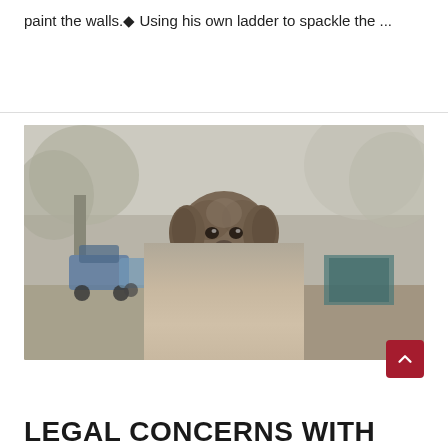paint the walls.◆ Using his own ladder to spackle the ...
Read More »
[Figure (photo): A fluffy brown/grey dog with an orange collar sitting in the middle of a road or path, with trees and parked cars in the blurred background. The photo has a muted, slightly desaturated tone.]
LEGAL CONCERNS WITH